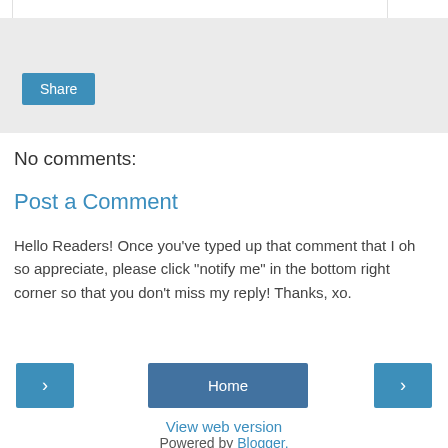[Figure (screenshot): Gray share section with a blue Share button]
No comments:
Post a Comment
Hello Readers! Once you've typed up that comment that I oh so appreciate, please click "notify me" in the bottom right corner so that you don't miss my reply! Thanks, xo.
Home
View web version
Powered by Blogger.